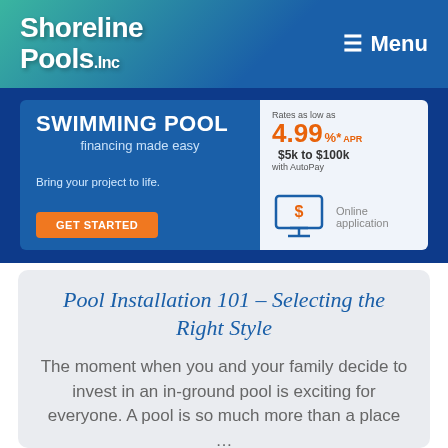Shoreline Pools, Inc — Menu
[Figure (infographic): Swimming Pool financing made easy banner. Rates as low as 4.99% APR with AutoPay, $5k to $100k. GET STARTED button. Online application with monitor icon.]
Pool Installation 101 – Selecting the Right Style
The moment when you and your family decide to invest in an in-ground pool is exciting for everyone. A pool is so much more than a place …